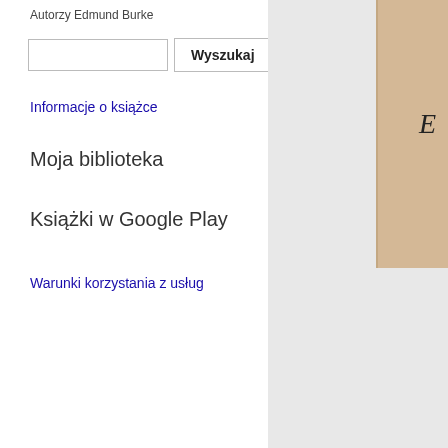Autorzy Edmund Burke
Wyszukaj
Informacje o książce
Moja biblioteka
Książki w Google Play
Warunki korzystania z usług
[Figure (photo): Scanned book title page showing partial text: E, PRINTED FOR 'J. DODSLEY,, M.DCC.XC, on aged paper background]
PRINTED FOR 'J. DODSLEY,
M.DCC.XC,